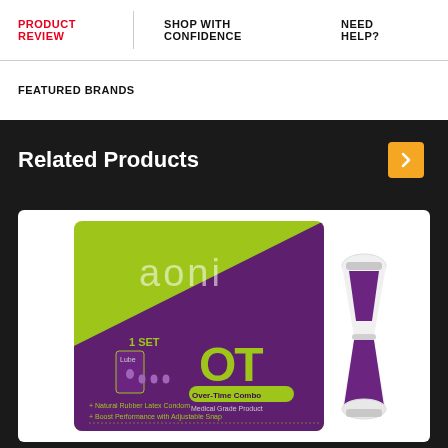PRODUCT REVIEW | SHOP WITH CONFIDENCE | NEED HELP?
FEATURED BRANDS
Related Products
[Figure (photo): Aoni OT Over-Time Combo condom product box (lime green and purple packaging) with hourglass accessory beside it. Text on box: aoni, 1 SET, Lube, OT, Over-Time Combo, Medical Grade Product, Natural Rubber Latex Condom, Boost Performance with Adjustable Snap.]